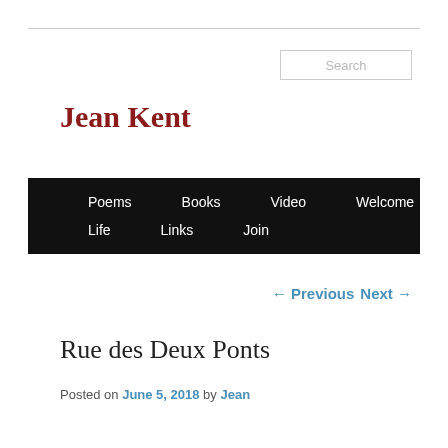Jean Kent
Poems  Books  Video  Welcome  Jottings  Life  Links  Join
← Previous  Next →
Rue des Deux Ponts
Posted on June 5, 2018 by Jean